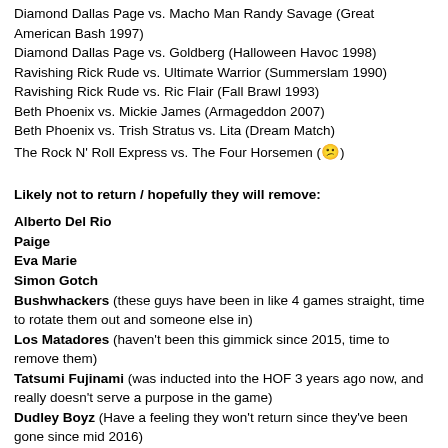Diamond Dallas Page vs. Macho Man Randy Savage (Great American Bash 1997)
Diamond Dallas Page vs. Goldberg (Halloween Havoc 1998)
Ravishing Rick Rude vs. Ultimate Warrior (Summerslam 1990)
Ravishing Rick Rude vs. Ric Flair (Fall Brawl 1993)
Beth Phoenix vs. Mickie James (Armageddon 2007)
Beth Phoenix vs. Trish Stratus vs. Lita (Dream Match)
The Rock N' Roll Express vs. The Four Horsemen (😕)
Likely not to return / hopefully they will remove:
Alberto Del Rio
Paige
Eva Marie
Simon Gotch
Bushwhackers (these guys have been in like 4 games straight, time to rotate them out and someone else in)
Los Matadores (haven't been this gimmick since 2015, time to remove them)
Tatsumi Fujinami (was inducted into the HOF 3 years ago now, and really doesn't serve a purpose in the game)
Dudley Boyz (Have a feeling they won't return since they've been gone since mid 2016)
Tyson Kidd (Career is likely over, hasn't been seen since mid 2015, sad to say but really should be removed, as much as I like having him in)
Wesley Blake & Buddy Murphy (neither of these guys have been relevant since mid 2015, should be removed to make room for newer stars)